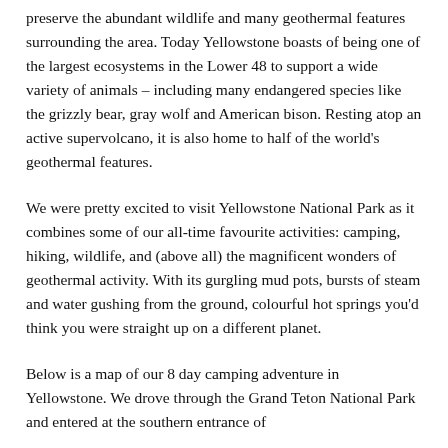preserve the abundant wildlife and many geothermal features surrounding the area. Today Yellowstone boasts of being one of the largest ecosystems in the Lower 48 to support a wide variety of animals – including many endangered species like the grizzly bear, gray wolf and American bison. Resting atop an active supervolcano, it is also home to half of the world's geothermal features.
We were pretty excited to visit Yellowstone National Park as it combines some of our all-time favourite activities: camping, hiking, wildlife, and (above all) the magnificent wonders of geothermal activity. With its gurgling mud pots, bursts of steam and water gushing from the ground, colourful hot springs you'd think you were straight up on a different planet.
Below is a map of our 8 day camping adventure in Yellowstone. We drove through the Grand Teton National Park and entered at the southern entrance of